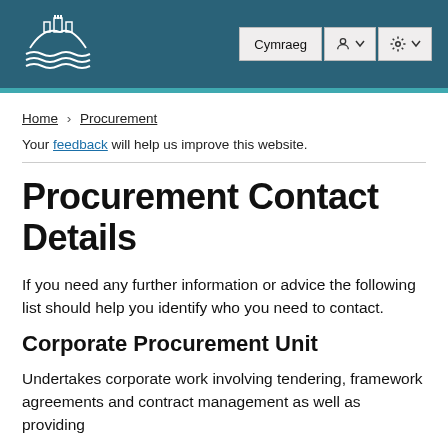[Figure (logo): Gwynedd Council logo — castle/mountain and waves icon in white on teal header background]
Cymraeg | Account | Settings
Home > Procurement
Your feedback will help us improve this website.
Procurement Contact Details
If you need any further information or advice the following list should help you identify who you need to contact.
Corporate Procurement Unit
Undertakes corporate work involving tendering, framework agreements and contract management as well as providing